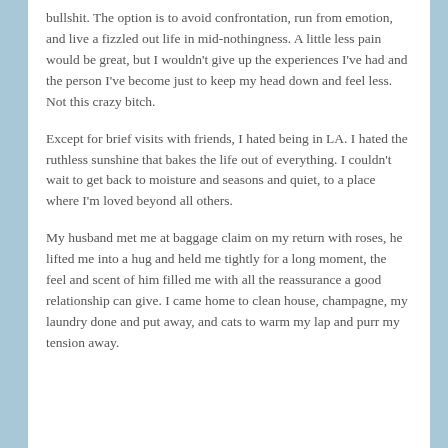bullshit. The option is to avoid confrontation, run from emotion, and live a fizzled out life in mid-nothingness. A little less pain would be great, but I wouldn't give up the experiences I've had and the person I've become just to keep my head down and feel less. Not this crazy bitch.
Except for brief visits with friends, I hated being in LA. I hated the ruthless sunshine that bakes the life out of everything. I couldn't wait to get back to moisture and seasons and quiet, to a place where I'm loved beyond all others.
My husband met me at baggage claim on my return with roses, he lifted me into a hug and held me tightly for a long moment, the feel and scent of him filled me with all the reassurance a good relationship can give. I came home to clean house, champagne, my laundry done and put away, and cats to warm my lap and purr my tension away.